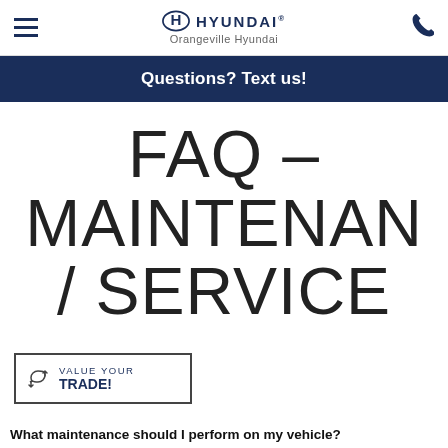Orangeville Hyundai
Questions? Text us!
FAQ – MAINTENANCE / SERVICE
[Figure (logo): VALUE YOUR TRADE! widget with refresh icon]
What maintenance should I perform on my vehicle?